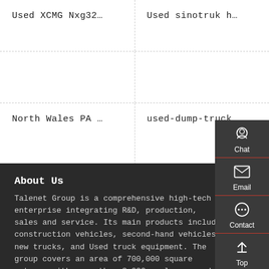Used XCMG Nxg32…
Used sinotruk h…
North Wales PA …
used-dump-truck…
About Us
Talenet Group is a comprehensive high-tech enterprise integrating R&D, production, sales and service. Its main products include construction vehicles, second-hand vehicles, new trucks, and Used truck equipment. The group covers an area of 700,000 square meters, with more than 8,000 employees and
[Figure (screenshot): Sidebar UI with Chat, Email, Contact, and Top navigation buttons with icons on dark background]